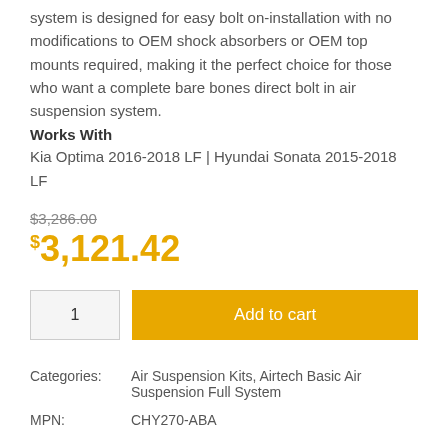system is designed for easy bolt on-installation with no modifications to OEM shock absorbers or OEM top mounts required, making it the perfect choice for those who want a complete bare bones direct bolt in air suspension system.
Works With
Kia Optima 2016-2018 LF | Hyundai Sonata 2015-2018 LF
$3,286.00
$3,121.42
1
Add to cart
|  |  |
| --- | --- |
| Categories: | Air Suspension Kits, Airtech Basic Air Suspension Full System |
| MPN: | CHY270-ABA |